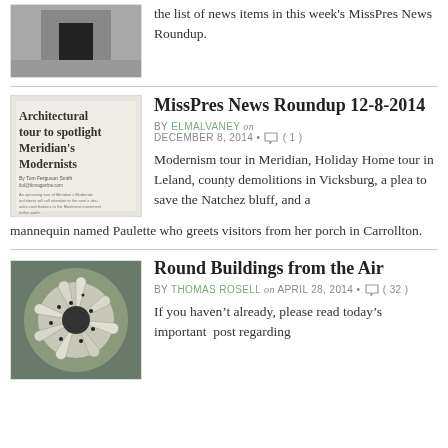[Figure (photo): Dark building exterior photo thumbnail]
the list of news items in this week's MissPres News Roundup.
MissPres News Roundup 12-8-2014
BY ELMALVANEY on DECEMBER 8, 2014 • ( 1 )
[Figure (photo): Newspaper clipping: Architectural tour to spotlight Meridian's Modernists]
Modernism tour in Meridian, Holiday Home tour in Leland, county demolitions in Vicksburg, a plea to save the Natchez bluff, and a mannequin named Paulette who greets visitors from her porch in Carrollton.
Round Buildings from the Air
BY THOMAS ROSELL on APRIL 28, 2014 • ( 32 )
[Figure (photo): Aerial photo of round building]
If you haven't already, please read today's important post regarding